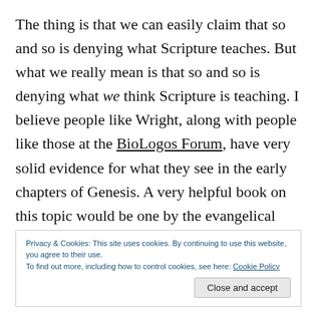The thing is that we can easily claim that so and so is denying what Scripture teaches. But what we really mean is that so and so is denying what we think Scripture is teaching. I believe people like Wright, along with people like those at the BioLogos Forum, have very solid evidence for what they see in the early chapters of Genesis. A very helpful book on this topic would be one by the evangelical scholar, Peter Enns,
Privacy & Cookies: This site uses cookies. By continuing to use this website, you agree to their use. To find out more, including how to control cookies, see here: Cookie Policy